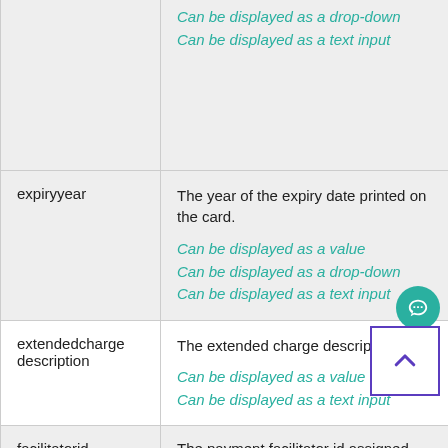| Field | Description |
| --- | --- |
|  | Can be displayed as a drop-down
Can be displayed as a text input |
| expiryyear | The year of the expiry date printed on the card.
Can be displayed as a value
Can be displayed as a drop-down
Can be displayed as a text input |
| extendedchargedescription | The extended charge description.
Can be displayed as a value
Can be displayed as a text input |
| facilitatorid | The payment facilitator id assigned |